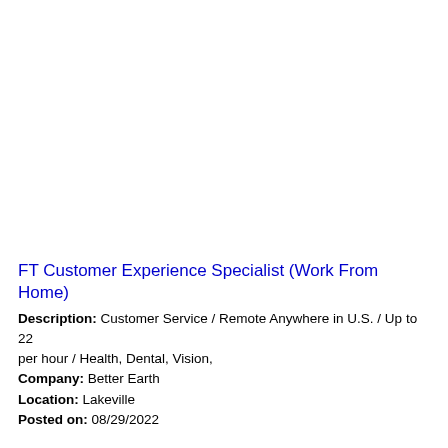FT Customer Experience Specialist (Work From Home)
Description: Customer Service / Remote Anywhere in U.S. / Up to 22 per hour / Health, Dental, Vision,
Company: Better Earth
Location: Lakeville
Posted on: 08/29/2022